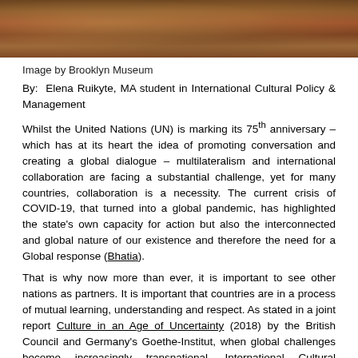[Figure (photo): Cropped top portion of a colorful carved or painted artwork from a museum, showing warm brown, red, and gold tones.]
Image by Brooklyn Museum
By: Elena Ruikyte, MA student in International Cultural Policy & Management
Whilst the United Nations (UN) is marking its 75th anniversary – which has at its heart the idea of promoting conversation and creating a global dialogue – multilateralism and international collaboration are facing a substantial challenge, yet for many countries, collaboration is a necessity. The current crisis of COVID-19, that turned into a global pandemic, has highlighted the state's own capacity for action but also the interconnected and global nature of our existence and therefore the need for a Global response (Bhatia).
That is why now more than ever, it is important to see other nations as partners. It is important that countries are in a process of mutual learning, understanding and respect. As stated in a joint report Culture in an Age of Uncertainty (2018) by the British Council and Germany's Goethe-Institut, when global challenges become increasingly transnational, International Cultural Relations (ICR) can make an increasingly important contribution. The report suggests that, while ICR cannot directly solve the global crisis, cultural engagement especially when it is mutual, can contribute by offering spaces for dialogue; strengthening civil society and independent actors, and managing